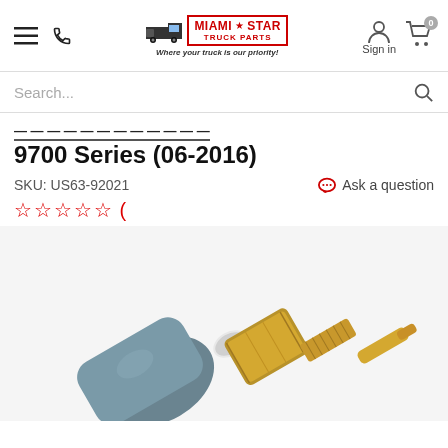Miami Star Truck Parts – Where your truck is our priority!
Search...
9700 Series (06‑2016)
SKU: US63-92021
Ask a question
☆☆☆☆☆ (
[Figure (photo): Close-up photo of a gold/brass coolant temperature sensor with a blue/gray connector body, threaded brass housing, and a protruding brass probe tip.]